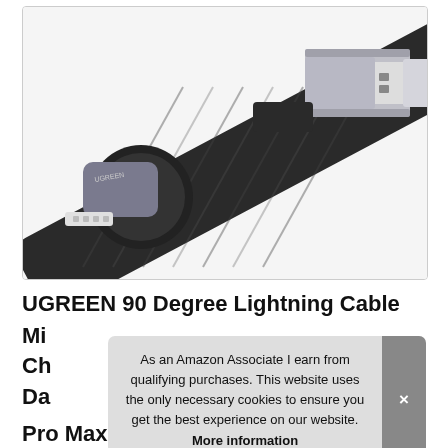[Figure (photo): Photo of UGREEN 90-degree Lightning cable showing a right-angle Lightning connector (black housing with silver UGREEN branding) and a standard USB-A connector, connected by a braided nylon black cable.]
UGREEN 90 Degree Lightning Cable MI Ch Da Pro Max SE 2020 11 XS XR X 8 7 6 5
As an Amazon Associate I earn from qualifying purchases. This website uses the only necessary cookies to ensure you get the best experience on our website. More information